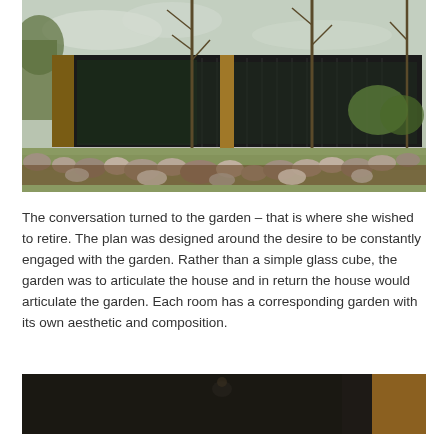[Figure (photo): Exterior photograph of a low-profile modern house with dark cladding and large glass panels, viewed from the garden. The foreground features a landscaped garden with large rocks, young trees, and grassy lawn.]
The conversation turned to the garden – that is where she wished to retire. The plan was designed around the desire to be constantly engaged with the garden. Rather than a simple glass cube, the garden was to articulate the house and in return the house would articulate the garden. Each room has a corresponding garden with its own aesthetic and composition.
[Figure (photo): Interior photograph, dark toned, partially visible at the bottom of the page.]